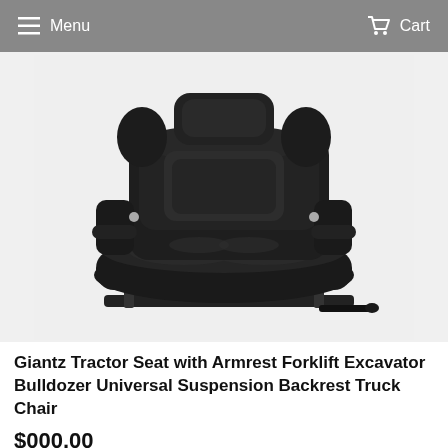Menu   Cart
[Figure (photo): A black tractor/forklift/excavator seat with armrests and suspension, viewed from a front-angled perspective on a white/light grey background. The seat has black vinyl upholstery, visible seatbelt buckle in red, and adjustment levers at the base.]
Giantz Tractor Seat with Armrest Forklift Excavator Bulldozer Universal Suspension Backrest Truck Chair
$000.00